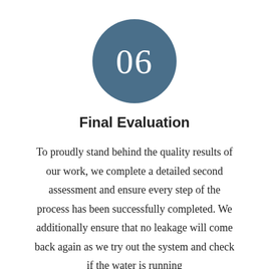[Figure (illustration): A circular badge with dark steel-blue background containing the number 06 in white text]
Final Evaluation
To proudly stand behind the quality results of our work, we complete a detailed second assessment and ensure every step of the process has been successfully completed. We additionally ensure that no leakage will come back again as we try out the system and check if the water is running